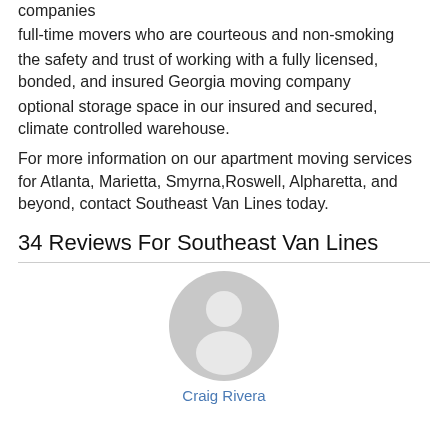companies
full-time movers who are courteous and non-smoking
the safety and trust of working with a fully licensed, bonded, and insured Georgia moving company
optional storage space in our insured and secured, climate controlled warehouse.
For more information on our apartment moving services for Atlanta, Marietta, Smyrna, Roswell, Alpharetta, and beyond, contact Southeast Van Lines today.
34 Reviews For Southeast Van Lines
[Figure (illustration): Generic user avatar icon — a grey circle with a silhouette of a person (head and shoulders)]
Craig Rivera